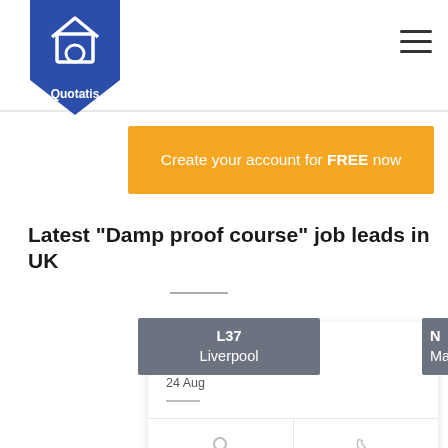[Figure (logo): Quotatis logo — blue shield with house icon and Quotatis text]
Create your account for FREE now
Latest "Damp proof course" job leads in UK
L37 Liverpool
24 Aug
- C...
CLIENT
07X XXXX XX58
TELEPHONE
We are in the process of buying the